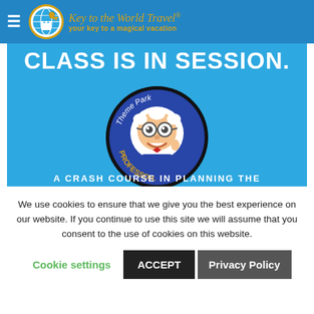Key to the World Travel® — your key to a magical vacation
[Figure (illustration): Blue promotional banner with 'CLASS IS IN SESSION.' text in bold white, a circular logo for 'Theme Park Professor' featuring an Einstein-like cartoon professor character, and 'A CRASH COURSE IN PLANNING THE' text at the bottom]
We use cookies to ensure that we give you the best experience on our website. If you continue to use this site we will assume that you consent to the use of cookies on this website.
Cookie settings | ACCEPT | Privacy Policy